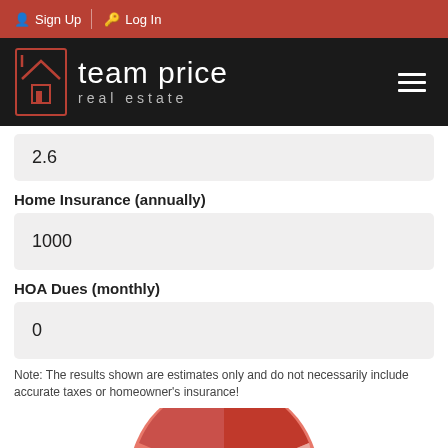Sign Up | Log In
[Figure (logo): Team Price Real Estate logo with house icon on black background]
2.6
Home Insurance (annually)
1000
HOA Dues (monthly)
0
Note: The results shown are estimates only and do not necessarily include accurate taxes or homeowner's insurance!
[Figure (pie-chart): Partial pie chart visible at bottom of page, showing segments in shades of red/coral]